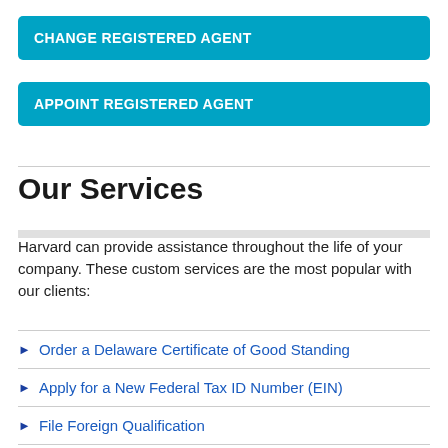CHANGE REGISTERED AGENT
APPOINT REGISTERED AGENT
Our Services
Harvard can provide assistance throughout the life of your company. These custom services are the most popular with our clients:
Order a Delaware Certificate of Good Standing
Apply for a New Federal Tax ID Number (EIN)
File Foreign Qualification
Order a Certified Copy